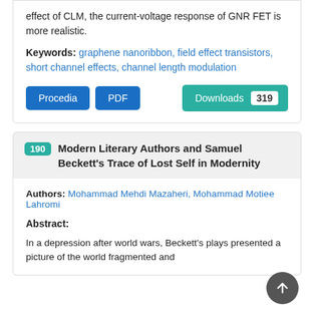effect of CLM, the current-voltage response of GNR FET is more realistic.
Keywords: graphene nanoribbon, field effect transistors, short channel effects, channel length modulation
190 Modern Literary Authors and Samuel Beckett's Trace of Lost Self in Modernity
Authors: Mohammad Mehdi Mazaheri, Mohammad Motiee Lahromi
Abstract:
In a depression after world wars, Beckett's plays presented a picture of the world fragmented and